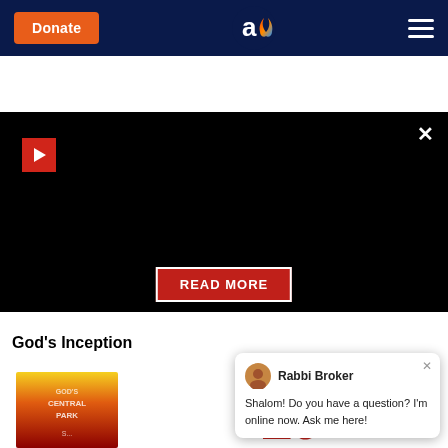[Figure (screenshot): Website navigation bar with dark navy background, orange Donate button on left, logo (white 'a' with flame) in center, hamburger menu icon on right]
[Figure (screenshot): Black video overlay area with red play icon top-left, X close button top-right, and red READ MORE button in center]
[Figure (screenshot): Movie INCEPTION title text in large bold red letters on black background strip]
God's Inception
[Figure (photo): Book cover showing 'Gods Central Park' with red fiery background]
[Figure (screenshot): Chat widget with Rabbi Broker avatar, message: Shalom! Do you have a question? I'm online now. Ask me here!]